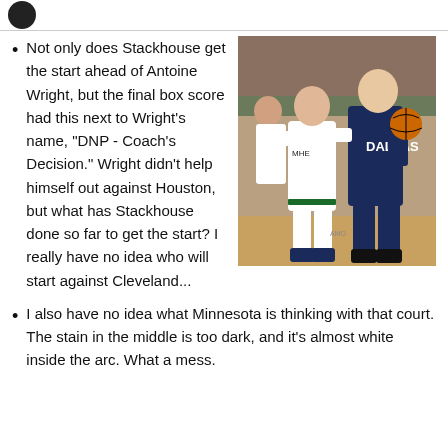[Figure (photo): Basketball players during an NBA game; a Dallas Mavericks player holding the ball is guarded by a Minnesota Timberwolves player, with a crowd in the background.]
Not only does Stackhouse get the start ahead of Antoine Wright, but the final box score had this next to Wright's name, "DNP - Coach's Decision."  Wright didn't help himself out against Houston, but what has Stackhouse done so far to get the start?  I really have no idea who will start against Cleveland...
I also have no idea what Minnesota is thinking with that court.  The stain in the middle is too dark, and it's almost white inside the arc.  What a mess.